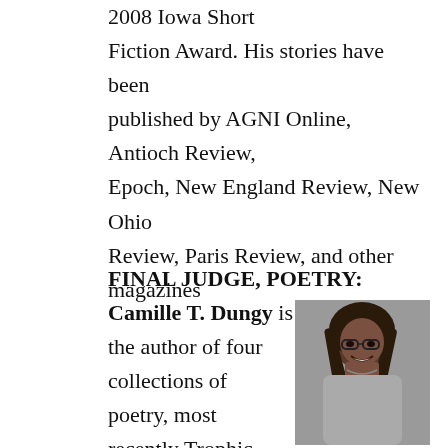2008 Iowa Short Fiction Award. His stories have been published by AGNI Online, Antioch Review, Epoch, New England Review, New Ohio Review, Paris Review, and other magazines
FINAL JUDGE, POETRY: Camille T. Dungy is the author of four collections of poetry, most recently Trophic Cascade, and the essay collection Guidebook to Relative
[Figure (photo): Black and white portrait photo of Camille T. Dungy, a woman with long dreadlocks, wearing glasses, smiling]